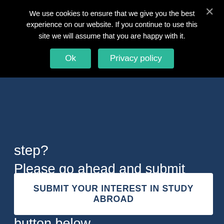[Figure (screenshot): Cookie consent banner overlay with black background, text 'We use cookies to ensure that we give you the best experience on our website. If you continue to use this site we will assume that you are happy with it.' with 'Ok' and 'Privacy policy' teal buttons, and an X close button.]
step?
Please go ahead and submit your program interest to the ICES office by using the ‘submit’ button below.
To learn more about the Study Abroad Program you may click on any of the links to the left.
SUBMIT YOUR INTEREST IN STUDY ABROAD